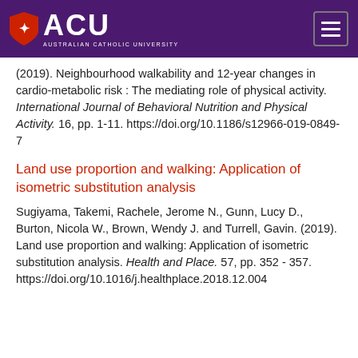ACU Australian Catholic University
(2019). Neighbourhood walkability and 12-year changes in cardio-metabolic risk : The mediating role of physical activity. International Journal of Behavioral Nutrition and Physical Activity. 16, pp. 1-11. https://doi.org/10.1186/s12966-019-0849-7
Land use proportion and walking: Application of isometric substitution analysis
Sugiyama, Takemi, Rachele, Jerome N., Gunn, Lucy D., Burton, Nicola W., Brown, Wendy J. and Turrell, Gavin. (2019). Land use proportion and walking: Application of isometric substitution analysis. Health and Place. 57, pp. 352 - 357. https://doi.org/10.1016/j.healthplace.2018.12.004